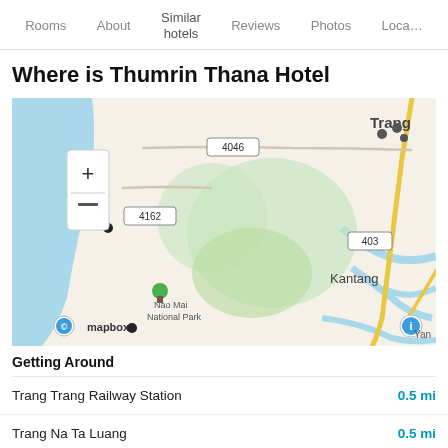Rooms  About  Similar hotels  Reviews  Photos  Loca…
Where is Thumrin Thana Hotel
[Figure (map): Mapbox map showing the area around Trang, Thailand, with road labels 4046, 4162, 403, and place names Trang, Kantang, Nao Mai National Park. Map includes zoom controls (+/-) and Mapbox attribution logo.]
Getting Around
Trang Trang Railway Station  0.5 mi
Trang Na Ta Luang  0.5 mi
Trang Any Hotel  1.2 mi